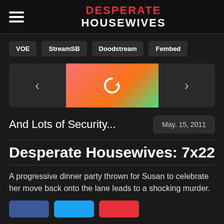DESPERATE HOUSEWIVES
VOE
StreamSB
Doodstream
Fembed
[Figure (other): Video player with previous arrow, refresh/reload button in salmon/orange gradient center, and next arrow]
And Lots of Security...
May. 15, 2011
Desperate Housewives: 7x22
A progressive dinner party thrown for Susan to celebrate her move back onto the lane leads to a shocking murder.